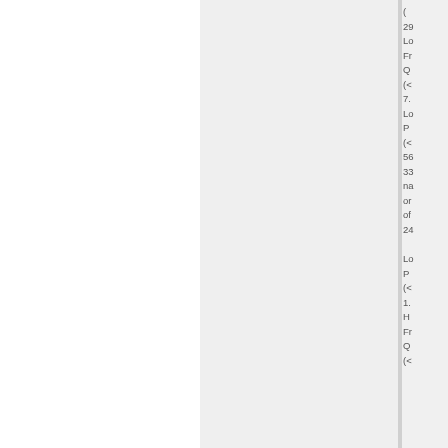(
29
Lo
Fr
Q
(<
7.
Lo
P
(<
56
33
na
or
of
24

Lo
P
(<
1.
H
Fr
Q
(